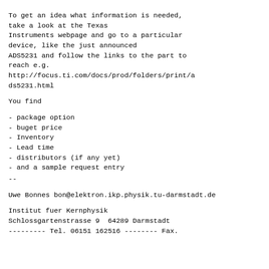To get an idea what information is needed, take a look at the Texas Instruments webpage and go to a particular device, like the just announced ADS5231 and follow the links to the part to reach e.g.
http://focus.ti.com/docs/prod/folders/print/ads5231.html
You find
- package option
- buget price
- Inventory
- Lead time
- distributors (if any yet)
- and a sample request entry
--
Uwe Bonnes
bon@elektron.ikp.physik.tu-darmstadt.de
Institut fuer Kernphysik
Schlossgartenstrasse 9  64289 Darmstadt
--------- Tel. 06151 162516 -------- Fax.